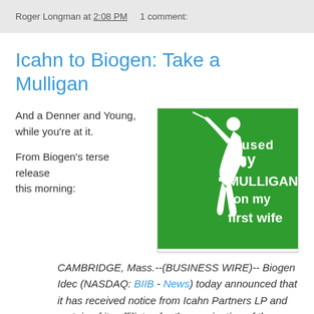Roger Longman at 2:08 PM   1 comment:
Icahn to Biogen: Take a Mulligan
And a Denner and Young, while you're at it.
From Biogen's terse release this morning:
[Figure (illustration): Green square sign with white silhouette of a golfer swinging, text reads 'i used my MULLIGAN on my first wife']
CAMBRIDGE, Mass.--(BUSINESS WIRE)-- Biogen Idec (NASDAQ: BIIB - News) today announced that it has received notice from Icahn Partners LP and certain of its affiliates for the nomination of three individuals, Alexander J. Denner, Richard C. Mulligan and Anne B. Young, to Biogen Idec's